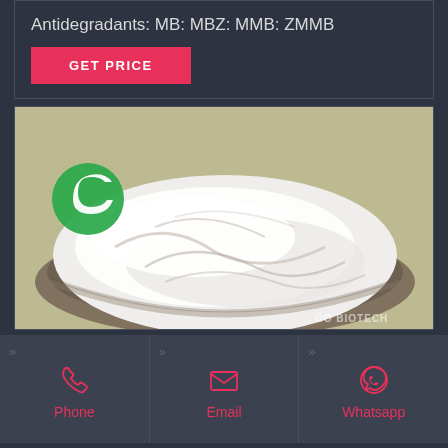Antidegradants: MB: MBZ: MMB: ZMMB
GET PRICE
[Figure (photo): A glass bowl filled with white chemical powder (antidegradants), placed on a light yellowish-green surface. A green circular logo watermark is visible in the upper left of the image. 'GO BIOTECH' watermark appears in the bottom right corner.]
Phone
Email
Whatsapp